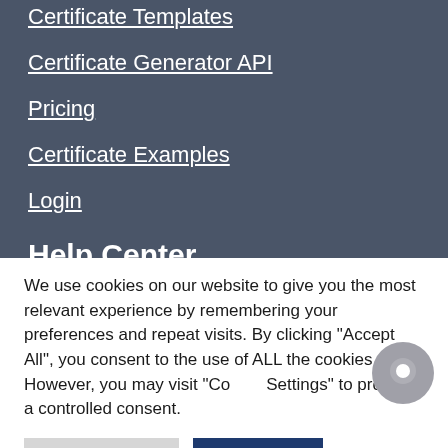Certificate Templates
Certificate Generator API
Pricing
Certificate Examples
Login
Help Center
API
We use cookies on our website to give you the most relevant experience by remembering your preferences and repeat visits. By clicking “Accept All”, you consent to the use of ALL the cookies. However, you may visit “Cookie Settings” to provide a controlled consent.
Cookie Settings | Accept All